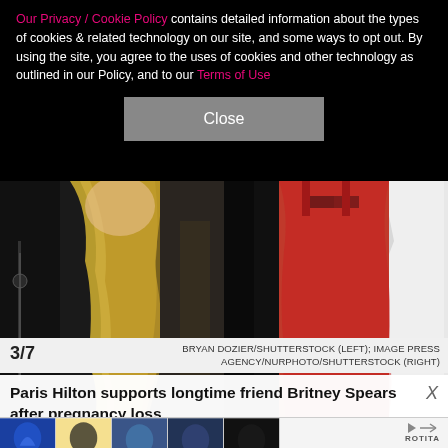Our Privacy / Cookie Policy contains detailed information about the types of cookies & related technology on our site, and some ways to opt out. By using the site, you agree to the uses of cookies and other technology as outlined in our Policy, and to our Terms of Use
[Figure (photo): Two-panel photo: left panel shows a person with long blonde hair wearing a dark zippered jacket; right panel shows a person in a red body-con dress with cutout detail, standing next to someone in a white suit]
3/7
BRYAN DOZIER/SHUTTERSTOCK (LEFT); IMAGE PRESS AGENCY/NURPHOTO/SHUTTERSTOCK (RIGHT)
Paris Hilton supports longtime friend Britney Spears after pregnancy loss
[Figure (photo): Advertisement strip showing five thumbnail images of swimsuit/swimwear products with the Rotita brand logo]